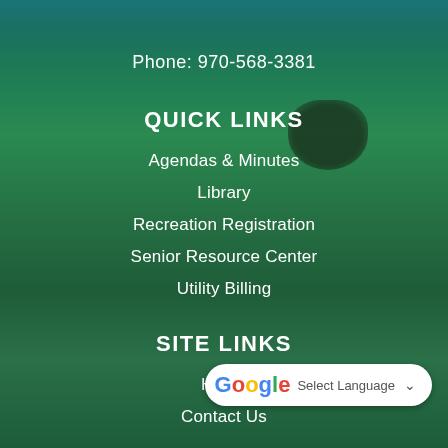Phone: 970-568-3381
QUICK LINKS
Agendas & Minutes
Library
Recreation Registration
Senior Resource Center
Utility Billing
SITE LINKS
Home
Contact Us
[Figure (other): Google Translate widget with 'Select Language' dropdown button]